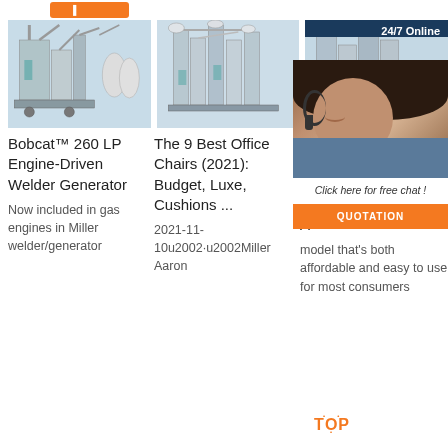[Figure (screenshot): Orange button/tab at top of page]
[Figure (photo): Industrial flour milling machine with pipes and bags]
[Figure (photo): Industrial grain processing machine]
[Figure (photo): Industrial machinery with 24/7 Online chat widget overlay showing female customer service agent]
Bobcat™ 260 LP Engine-Driven Welder Generator
Now included in gas engines in Miller welder/generator
The 9 Best Office Chairs (2021): Budget, Luxe, Cushions ...
2021-11-10u2002·u2002Miller Aaron
5 G D B A model that's both affordable and easy to use for most consumers